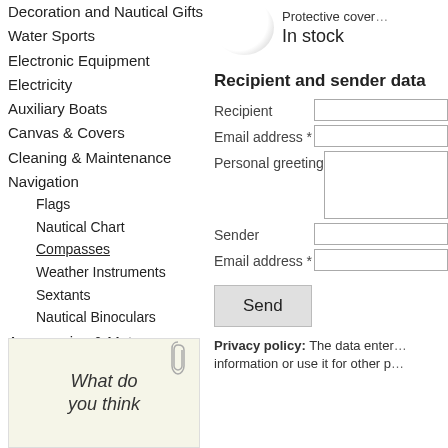Decoration and Nautical Gifts
Water Sports
Electronic Equipment
Electricity
Auxiliary Boats
Canvas & Covers
Cleaning & Maintenance
Navigation
Flags
Nautical Chart
Compasses
Weather Instruments
Sextants
Nautical Binoculars
Accessories & Motor
Safety on Board
Sail and Maneuver
[Figure (illustration): Handwritten note paper with text 'What do you think']
Protective cover
In stock
Recipient and sender data
Recipient
Email address *
Personal greeting
Sender
Email address *
Send
Privacy policy: The data enter... information or use it for other p...